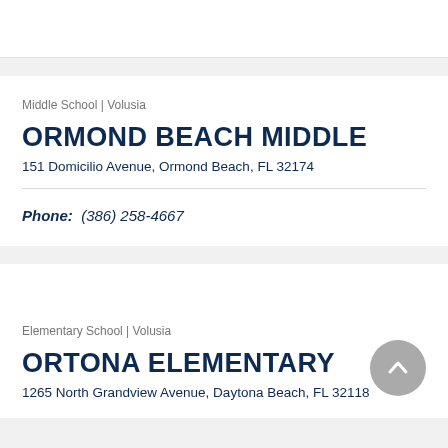Middle School | Volusia
ORMOND BEACH MIDDLE
151 Domicilio Avenue, Ormond Beach, FL 32174
Phone:  (386) 258-4667
Elementary School | Volusia
ORTONA ELEMENTARY
1265 North Grandview Avenue, Daytona Beach, FL 32118